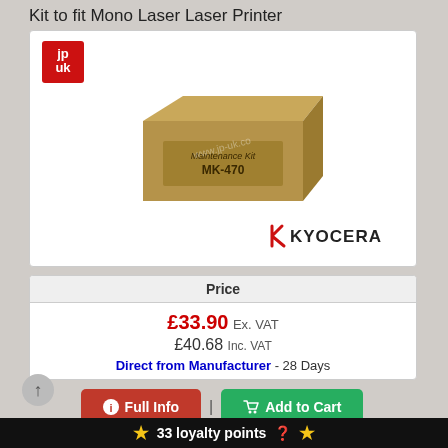Kit to fit Mono Laser Laser Printer
[Figure (photo): Product photo of a Kyocera MK-470 Maintenance Kit box. The JP-UK logo (red square with white letters) appears in the top-left corner. A watermark 'www.jp-uk.co' is overlaid on the image. The Kyocera logo appears in the bottom-right of the image box.]
| Price |
| --- |
| £33.90 Ex. VAT |
| £40.68 Inc. VAT |
| Direct from Manufacturer - 28 Days |
Full Info | Add to Cart
33 loyalty points